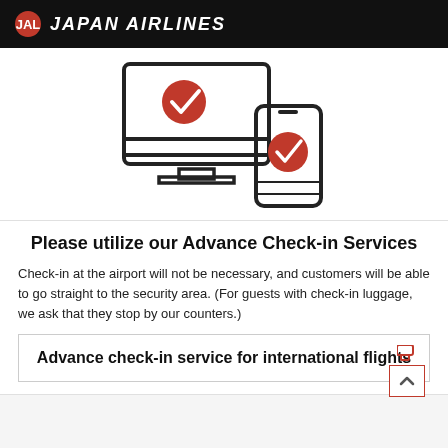JAPAN AIRLINES
[Figure (illustration): Illustration of a desktop monitor and smartphone, each showing a red checkmark circle, representing online/mobile check-in]
Please utilize our Advance Check-in Services
Check-in at the airport will not be necessary, and customers will be able to go straight to the security area. (For guests with check-in luggage, we ask that they stop by our counters.)
Advance check-in service for international flights